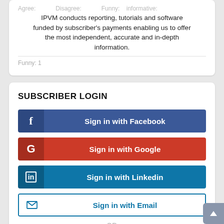IPVM conducts reporting, tutorials and software funded by subscriber's payments enabling us to offer the most independent, accurate and in-depth information.
Agree: ... Disagree: ... Funny: 1
SUBSCRIBER LOGIN
[Figure (other): Sign in with Facebook button - blue button with Facebook F icon]
[Figure (other): Sign in with Google button - red button with Google G icon]
[Figure (other): Sign in with Linkedin button - blue button with LinkedIn in icon]
[Figure (other): Sign in with Email button - white outlined button with envelope icon]
OR